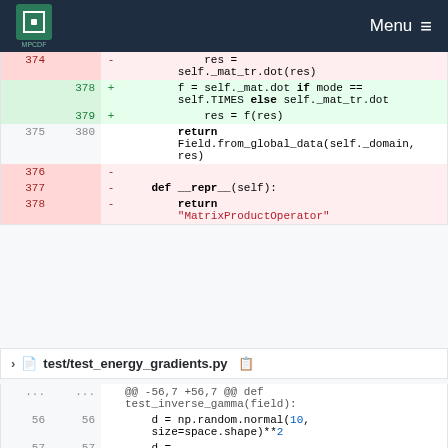MPCDF Menu
[Figure (screenshot): Code diff showing changes to matrix operator code. Lines 374-378 show deleted/added code for matrix dot product with mode check. Lines 376-378 show deleted __repr__ method returning 'MatrixProductOperator'.]
test/test_energy_gradients.py
[Figure (screenshot): Code diff for test/test_energy_gradients.py, lines 56-57, showing @@ -56,7 +56,7 @@ def test_inverse_gamma(field): with d = np.random.normal(10, size=space.shape)**2 and d =]